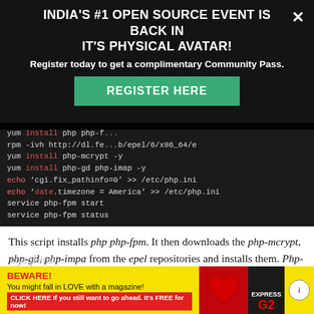[Figure (screenshot): Modal overlay with dark background showing INDIA'S #1 OPEN SOURCE EVENT IS BACK IN IT'S PHYSICAL AVATAR! with Register today to get a complimentary Community Pass. and a green REGISTER HERE button and X close button]
yum install php php-f...
rpm -ivh http://dl.fe...b/epel/6/x86_64/e
yum install php-mcrypt -y
yum install php-gd php-imap -y
echo ‘cgi.fix_pathinfo=0’ >> /etc/php.ini
echo ‘date.timezone = America’ >> /etc/php.ini
service php-fpm start
service php-fpm status
This script installs php php-fpm. It then downloads the php-mcrypt, php-gd, php-impa from the epel repositories and installs them. Php-fpm requires the cgi.fix_pathinfo=0 to be set in the php.ini file, which is done by the echo command. The script then automatically starts php-fpm.
After PHP, the next thing to be installed is MySQL. Create
[Figure (screenshot): Bottom advertisement with yellow background: BEWARE! You might fall in LOVE with a magazine! CLICK HERE If you still want to go ahead. It's FREE for now! with red heart image and Express magazine cover]